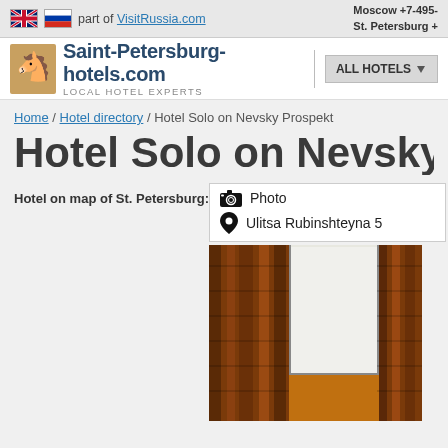part of VisitRussia.com | Moscow +7-495- | St. Petersburg +
Saint-Petersburg-hotels.com LOCAL HOTEL EXPERTS | ALL HOTELS
Home / Hotel directory / Hotel Solo on Nevsky Prospekt
Hotel Solo on Nevsky Prosp
Hotel on map of St. Petersburg:
Photo
Ulitsa Rubinshteyna 5
[Figure (photo): Hotel room interior with orange/warm walls, curtains and window]